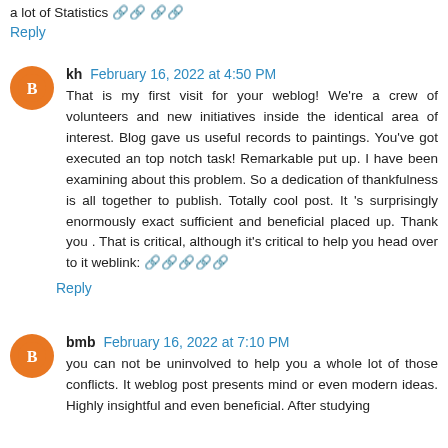a lot of Statistics [link]
Reply
kh February 16, 2022 at 4:50 PM
That is my first visit for your weblog! We're a crew of volunteers and new initiatives inside the identical area of interest. Blog gave us useful records to paintings. You've got executed an top notch task! Remarkable put up. I have been examining about this problem. So a dedication of thankfulness is all together to publish. Totally cool post. It 's surprisingly enormously exact sufficient and beneficial placed up. Thank you . That is critical, although it's critical to help you head over to it weblink: [link]
Reply
bmb February 16, 2022 at 7:10 PM
you can not be uninvolved to help you a whole lot of those conflicts. It weblog post presents mind or even modern ideas. Highly insightful and even beneficial. After studying